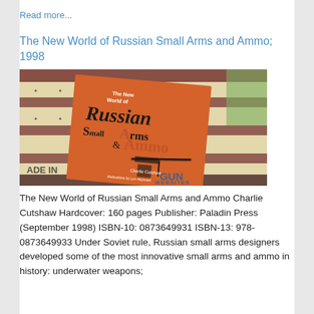Read more...
The New World of Russian Small Arms and Ammo; 1998
[Figure (photo): Photo of the book 'The New World of Russian Small Arms and Ammo' by Charlie Cutshaw, with illustrations by Lyn Haywood, placed on a decorative textile. Orange book cover with gun illustration. GUN WEBSITES watermark visible.]
The New World of Russian Small Arms and Ammo Charlie Cutshaw Hardcover: 160 pages Publisher: Paladin Press (September 1998) ISBN-10: 0873649931 ISBN-13: 978-0873649933 Under Soviet rule, Russian small arms designers developed some of the most innovative small arms and ammo in history: underwater weapons;